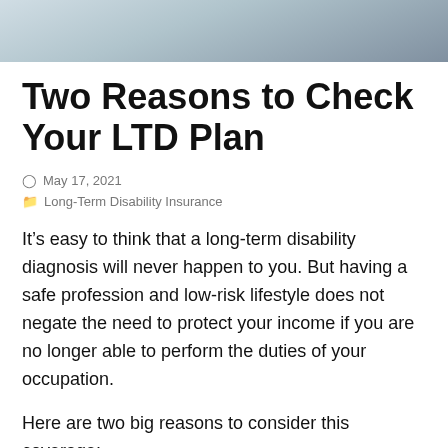[Figure (photo): Cropped photo showing papers or documents on a grey fabric surface, partial view at top of page]
Two Reasons to Check Your LTD Plan
May 17, 2021
Long-Term Disability Insurance
It’s easy to think that a long-term disability diagnosis will never happen to you. But having a safe profession and low-risk lifestyle does not negate the need to protect your income if you are no longer able to perform the duties of your occupation.
Here are two big reasons to consider this coverage: